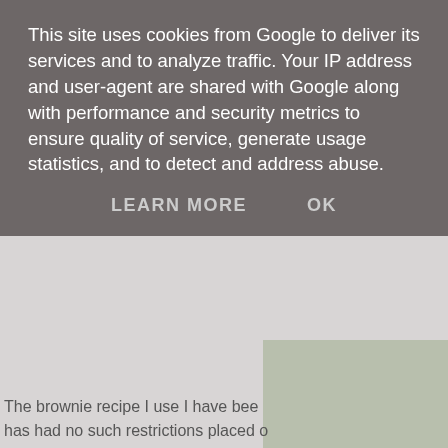This site uses cookies from Google to deliver its services and to analyze traffic. Your IP address and user-agent are shared with Google along with performance and security metrics to ensure quality of service, generate usage statistics, and to detect and address abuse.
LEARN MORE    OK
[Figure (photo): A chocolate brownie cupcake with white/grey fondant covering decorated with colorful heart and polka dot sprinkles, sitting on a white plate, viewed from above at an angle. Only the right portion of the image is visible.]
The brownie recipe I use I have bee has had no such restrictions placed o